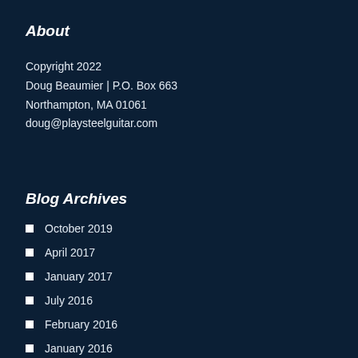About
Copyright 2022
Doug Beaumier | P.O. Box 663
Northampton, MA 01061
doug@playsteelguitar.com
Blog Archives
October 2019
April 2017
January 2017
July 2016
February 2016
January 2016